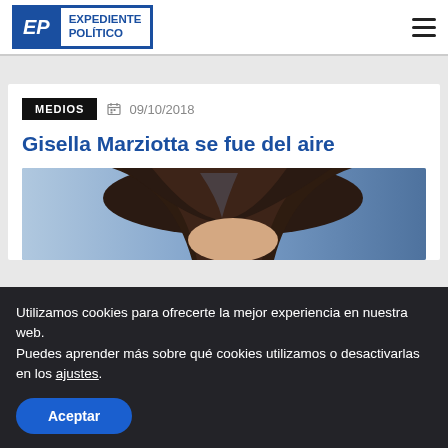EXPEDIENTE POLÍTICO
MEDIOS
09/10/2018
Gisella Marziotta se fue del aire
[Figure (photo): Photo of a woman with dark hair with a blue background]
Utilizamos cookies para ofrecerte la mejor experiencia en nuestra web.
Puedes aprender más sobre qué cookies utilizamos o desactivarlas en los ajustes.
Aceptar